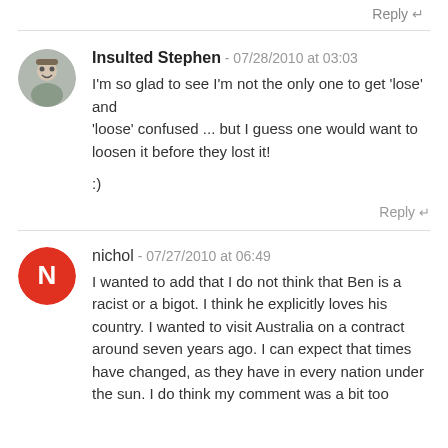Reply ↲
Insulted Stephen - 07/28/2010 at 03:03
I'm so glad to see I'm not the only one to get 'lose' and 'loose' confused … but I guess one would want to loosen it before they lost it!

:)
Reply ↲
nichol - 07/27/2010 at 06:49
I wanted to add that I do not think that Ben is a racist or a bigot. I think he explicitly loves his country. I wanted to visit Australia on a contract around seven years ago. I can expect that times have changed, as they have in every nation under the sun. I do think my comment was a bit too